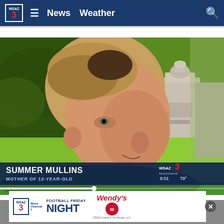WSAZ 3 News Weather
[Figure (screenshot): Video still of woman in green shirt being interviewed outdoors near a stone monument with green lawn. Lower third graphic shows 'SUMMER MULLINS - MOTHER OF 12-YEAR-OLD' with WSAZ logo, time 6:01, temperature 79°. Progress bar at bottom of video.]
[Figure (other): WSAZ NewsChannel 3 Football Friday Night advertisement banner featuring Wendy's sponsorship logo and copyright 2022 Quality is Our Recipe LLC]